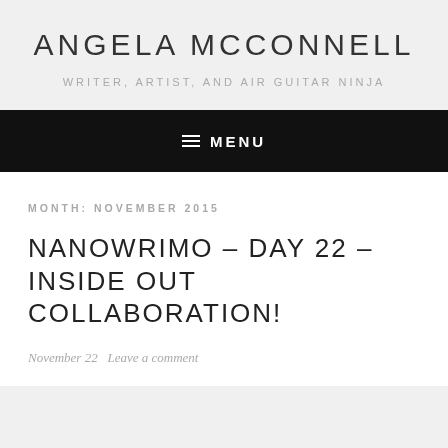ANGELA MCCONNELL
WRITER, ARTIST, AND AIR GUITAR NINJA
≡ MENU
MONTH: NOVEMBER 2015
NANOWRIMO – DAY 22 – INSIDE OUT COLLABORATION!
November 22   Leave a comment